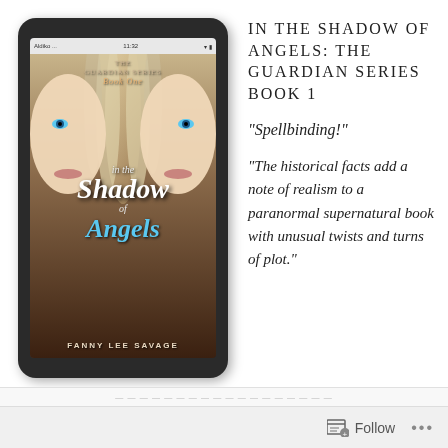[Figure (photo): Kindle/tablet device displaying the book cover of 'In the Shadow of Angels: The Guardian Series Book 1' by Fanny Lee Savage. The cover shows two faces of a blonde woman with blue eyes and angelic wings in the background. The title is written in stylized script.]
IN THE SHADOW OF ANGELS: THE GUARDIAN SERIES BOOK 1
“Spellbinding!”
“The historical facts add a note of realism to a paranormal supernatural book with unusual twists and turns of plot.”
Follow ...